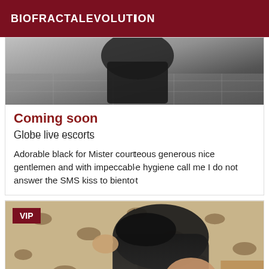BIOFRACTALEVOLUTION
[Figure (photo): Partial photo showing a person in dark clothing from above, grayscale/muted tones]
Coming soon
Globe live escorts
Adorable black for Mister courteous generous nice gentlemen and with impeccable hygiene call me I do not answer the SMS kiss to bientot
[Figure (photo): VIP-badged photo of a woman in dark clothing leaning on a leopard-print surface, viewed from above]